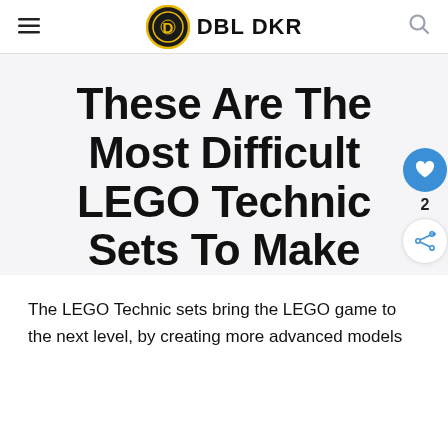DBL DKR
These Are The Most Difficult LEGO Technic Sets To Make
The LEGO Technic sets bring the LEGO game to the next level, by creating more advanced models